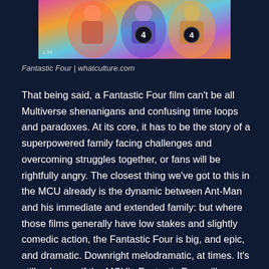[Figure (photo): Colorful stylized illustration of Fantastic Four characters in vibrant psychedelic colors, showing circle badges with number 4 on their costumes]
Fantastic Four | whatculture.com
That being said, a Fantastic Four film can’t be all Multiverse shenanigans and confusing time loops and paradoxes. At its core, it has to be the story of a superpowered family facing challenges and overcoming struggles together, or fans will be rightfully angry. The closest thing we’ve got to this in the MCU already is the dynamic between Ant-Man and his immediate and extended family: but where those films generally have low stakes and slightly comedic action, the Fantastic Four is big, and epic, and dramatic. Downright melodramatic, at times. It’s still unknown if the MCU’s Fantastic Four will introduce us to a fully established team, or set up a proper origin story. Fox has tried and failed at that twice, both times bungling it by trying to